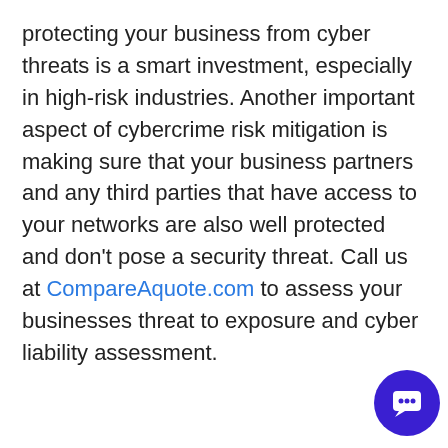protecting your business from cyber threats is a smart investment, especially in high-risk industries. Another important aspect of cybercrime risk mitigation is making sure that your business partners and any third parties that have access to your networks are also well protected and don't pose a security threat. Call us at CompareAquote.com to assess your businesses threat to exposure and cyber liability assessment.
[Figure (illustration): Cartoon mascot: a smiling businessman in a blue suit with glasses, giving a thumbs up and holding a briefcase]
Don't hesitate, contact us for better help and services. Explore all services